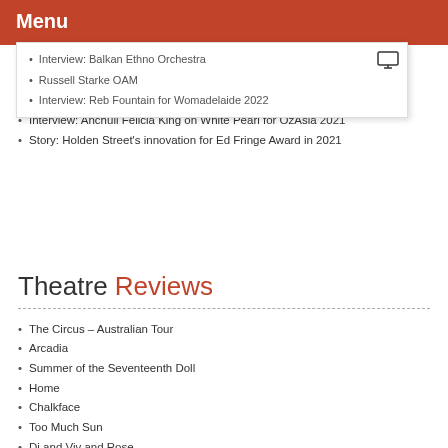Menu
Interview: Balkan Ethno Orchestra
Russell Starke OAM
Interview: Reb Fountain for Womadelaide 2022
Interview: Kelly Vincent on UnSeen and disability advocacy
Interview: Anchuli Felicia King on White Pearl for OzAsia 2021
Story: Holden Street's innovation for Ed Fringe Award in 2021
Theatre Reviews
The Circus – Australian Tour
Arcadia
Summer of the Seventeenth Doll
Home
Chalkface
Too Much Sun
Di and Viv and Rose
And Then You Go – The Vali Myers Project
Meow Meow's - Pandemonium
Louise Blackwell – Love On The Left Bank
The Funhouse - Paul McDermott
The Madness of George III
Cabaret Life Drawing
30 Something
Something Big